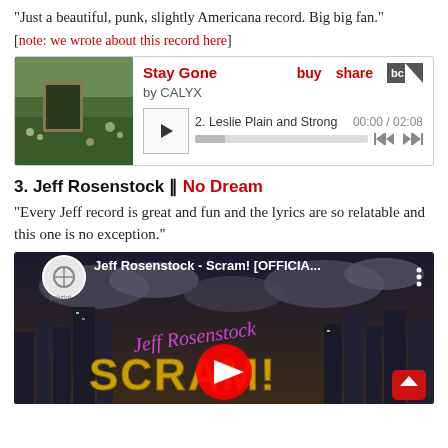“Just a beautiful, punk, slightly Americana record. Big big fan.”
[note: we wrote about this record here]
[Figure (screenshot): Bandcamp embedded player for 'Stay Gone' by CALYX, showing album artwork of a framed scene in a field, track '2. Leslie Plain and Strong', time 00:00 / 02:08, with buy, share, and Bandcamp logo links]
3. Jeff Rosenstock ‖ No Dream
“Every Jeff record is great and fun and the lyrics are so relatable and this one is no exception.”
[Figure (screenshot): YouTube video thumbnail for Jeff Rosenstock - Scram! [OFFICIA...] showing a city skyline at night with clouds, Jeff Rosenstock cursive text in purple, SCRAM! text in gold, a red YouTube play button in the center, and a polyriot channel icon. A red scroll-to-top button is visible in the bottom right.]